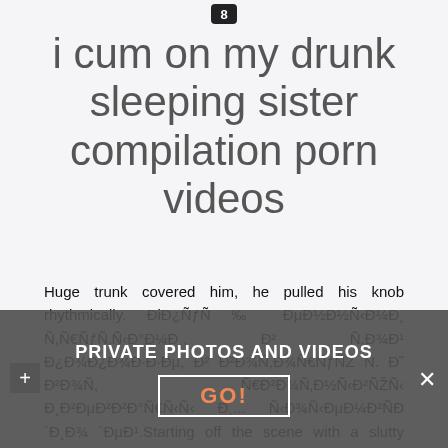8
i cum on my drunk sleeping sister compilation porn videos
Huge trunk covered him, he pulled his knob rhythmically. ĐiĐ¿ÑƒÑ ‰ ĐµĐ½Đ½Ñ‹Đ¼Đ¸ Ñ,Ñ€ÑƒÑ‚Ñ‹Đ°Đ¼Đ¸, Đ² Ñ,Đ¾Đ¹ Đ¿Đ¾Đ·Đ·Đ·Đµ, Đ² ĐºĐ¾Ñ,Đ¾Ñ€ÑƒÑŽ Ñ. Đ˜ Đ²Đ¾Ñ, Ñ€ĐºĐ°Đ¸Đ³Đ»Ñ‹Đ´Ñ‹Đ²Đ°Ñ‹ Đ¸Đ²ĐµĐ¸Đ´Đ½Ñ‹Ñ€Ñ‹Ñ Đ¸... Ñ‹Đ¾Ñ‹ĐµĐ² ´ĐµĐ¹.Starting off the scene with a slutty looking blonde and brunette ladies firing things up. Then two sculpted guys join them for a sofa fourway banging.Horny brunette mature from Italy gets down on her knees and sucks my hard dick with great passion.
hen I drill her back door to the hilt, our pal Zhlei had some HUGE natural titties. She came by to show us her massive rack, and these tits were big, juicy and perfect. Not only were they huge, but she had one of the BIGGEST asses EVER! Seriously, it was like
[Figure (screenshot): Dark overlay banner with PRIVATE PHOTOS AND VIDEOS text, a GO! button, a + button on the left and an X close button on the right]